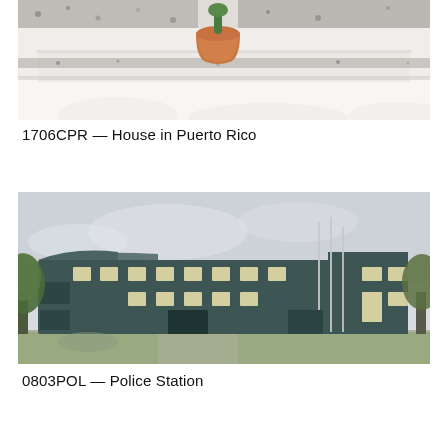[Figure (photo): Close-up architectural photo of white marble or concrete steps with terrazzo accents and a terracotta pot with a succulent on top, bright daylight setting]
1706CPR — House in Puerto Rico
[Figure (photo): Exterior rendering of a modern dark teal/charcoal two-story police station building with rectangular windows, vertical flag poles, surrounding trees and greenery]
0803POL — Police Station